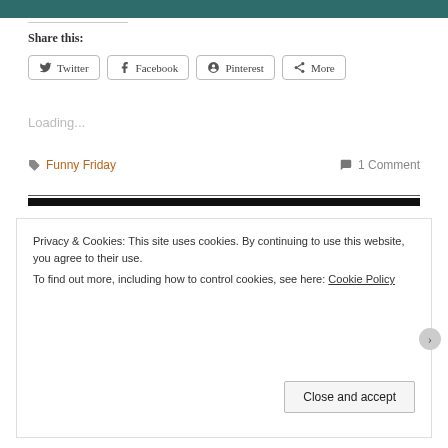[Figure (other): Teal/dark green decorative header bar at top of page]
Share this:
Twitter
Facebook
Pinterest
More
Loading...
Funny Friday
1 Comment
Privacy & Cookies: This site uses cookies. By continuing to use this website, you agree to their use.
To find out more, including how to control cookies, see here: Cookie Policy
Close and accept